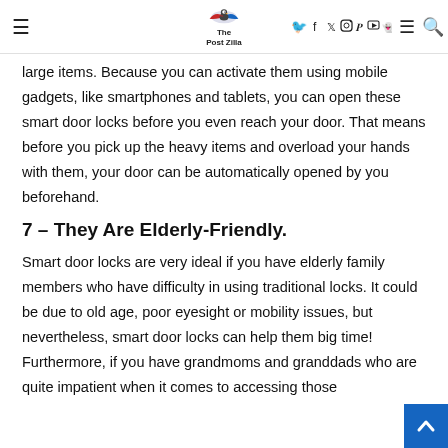The Post Zilla
large items. Because you can activate them using mobile gadgets, like smartphones and tablets, you can open these smart door locks before you even reach your door. That means before you pick up the heavy items and overload your hands with them, your door can be automatically opened by you beforehand.
7 – They Are Elderly-Friendly.
Smart door locks are very ideal if you have elderly family members who have difficulty in using traditional locks. It could be due to old age, poor eyesight or mobility issues, but nevertheless, smart door locks can help them big time! Furthermore, if you have grandmoms and granddads who are quite impatient when it comes to accessing those complicated traditional locks, smart door locks are the way